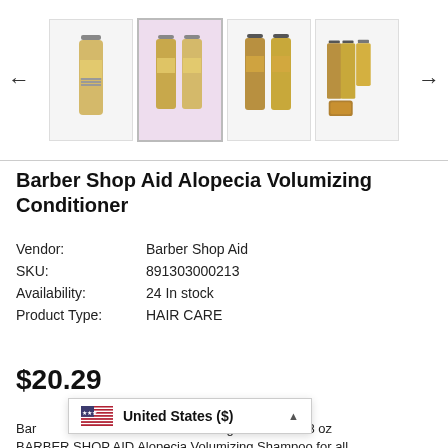[Figure (photo): Product image gallery showing Barber Shop Aid Alopecia Volumizing Conditioner bottles in four thumbnail views with left and right navigation arrows]
Barber Shop Aid Alopecia Volumizing Conditioner
| Vendor: | Barber Shop Aid |
| SKU: | 891303000213 |
| Availability: | 24 In stock |
| Product Type: | HAIR CARE |
$20.29
[Figure (screenshot): United States ($) currency selector popup with US flag and dropdown arrow]
Barber Shop Aid Alopecia Volumizing Conditioner 8 oz BARBER SHOP AID Alopecia Volumizing Shampoo for all hair types as a first aid for reduction of hair loss...